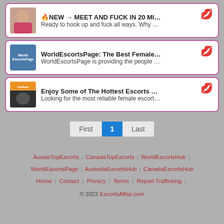🔥NEW → MEET AND FUCK IN 20 MINS🔥🔥🔥 | Ready to hook up and fuck all ways. Why wast...
WorldEscortsPage: The Best Female Escor... | WorldEscortsPage is providing the people of Q...
Enjoy Some of The Hottest Escorts and Qu... | Looking for the most reliable female escorts ar...
First 1 Last
AussieTopEscorts | CanadaTopEscorts | WorldEscortsHub | WorldEscortsPage | AustraliaEscortsHub | CanadaEscortsHub | Home | Contact | Privacy | Terms | Report Trafficking | © 2022 EscortsAffair.com